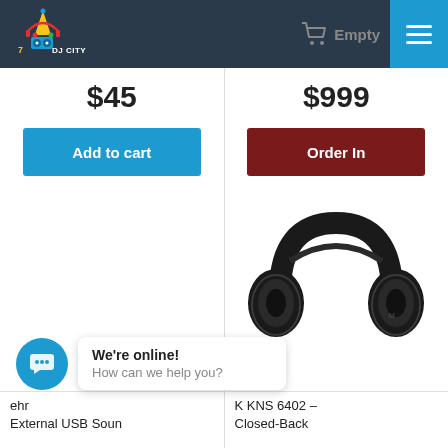[Figure (logo): DJ City logo with colorful party/DJ icons and text 'DJ CITY']
Empty
$45
$999
Add to cart
Order In
[Figure (photo): Black over-ear headphones (K KNS 6402 Closed-Back)]
We're online!
How can we help you?
ehr
External USB Soun
K KNS 6402 –
Closed-Back